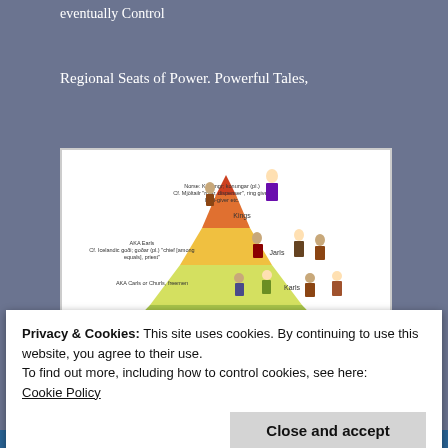eventually Control
Regional Seats of Power. Powerful Tales,
[Figure (illustration): A pyramid diagram showing the Norse social hierarchy with four levels: Kings (top), Jarls, Karls, and Thralls (bottom). Each level is labeled with Norse/Icelandic terms and illustrated with period-costumed figures. The pyramid is colored in gradients from red/orange at top to green at bottom.]
Privacy & Cookies: This site uses cookies. By continuing to use this website, you agree to their use.
To find out more, including how to control cookies, see here:
Cookie Policy
Close and accept